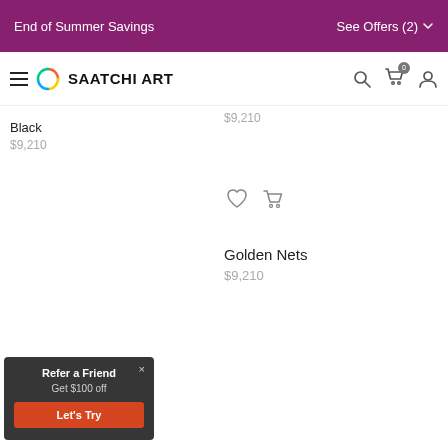End of Summer Savings   See Offers (2)
[Figure (logo): Saatchi Art logo with colorful circle icon and nav icons for search, cart, and user]
Black
$9,210
$9,210
Golden Nets
$9,210
Refer a Friend
Get $100 off
Let's Try